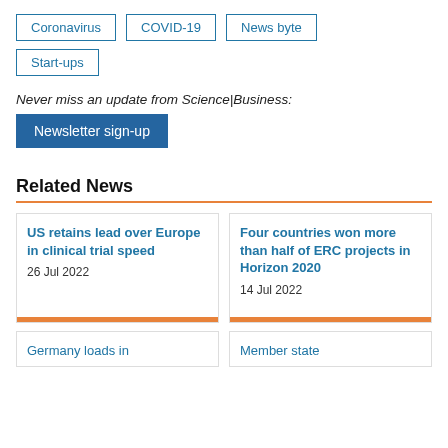Coronavirus
COVID-19
News byte
Start-ups
Never miss an update from Science|Business:
Newsletter sign-up
Related News
US retains lead over Europe in clinical trial speed
26 Jul 2022
Four countries won more than half of ERC projects in Horizon 2020
14 Jul 2022
Germany leads in
Member state